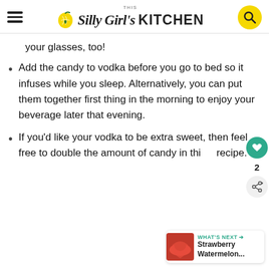This Silly Girl's KITCHEN
your glasses, too!
Add the candy to vodka before you go to bed so it infuses while you sleep. Alternatively, you can put them together first thing in the morning to enjoy your beverage later that evening.
If you'd like your vodka to be extra sweet, then feel free to double the amount of candy in this recipe.
[Figure (other): What's Next promo card showing Strawberry Watermelon... with thumbnail image]